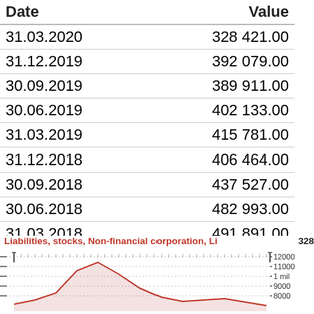| Date | Value |
| --- | --- |
| 31.03.2020 | 328 421.00 |
| 31.12.2019 | 392 079.00 |
| 30.09.2019 | 389 911.00 |
| 30.06.2019 | 402 133.00 |
| 31.03.2019 | 415 781.00 |
| 31.12.2018 | 406 464.00 |
| 30.09.2018 | 437 527.00 |
| 30.06.2018 | 482 993.00 |
| 31.03.2018 | 491 891.00 |
| 31.12.2017 | 470 667.00 |
Next »
[Figure (line-chart): Line chart showing liabilities/stocks values over time, with y-axis ranging from approximately 8000 to 12000. The line peaks around 2015-2016 and declines toward 2020.]